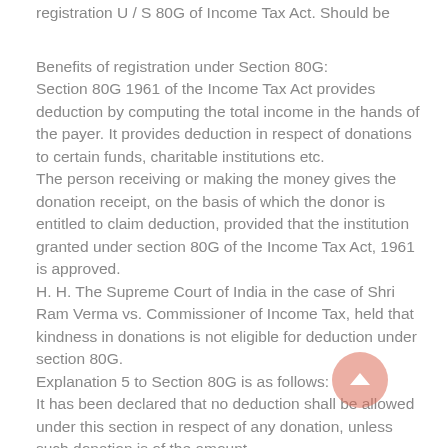registration U / S 80G of Income Tax Act. Should be
Benefits of registration under Section 80G:
Section 80G 1961 of the Income Tax Act provides deduction by computing the total income in the hands of the payer. It provides deduction in respect of donations to certain funds, charitable institutions etc.
The person receiving or making the money gives the donation receipt, on the basis of which the donor is entitled to claim deduction, provided that the institution granted under section 80G of the Income Tax Act, 1961 is approved.
H. H. The Supreme Court of India in the case of Shri Ram Verma vs. Commissioner of Income Tax, held that kindness in donations is not eligible for deduction under section 80G.
Explanation 5 to Section 80G is as follows:
It has been declared that no deduction shall be allowed under this section in respect of any donation, unless such donation is of the amount.